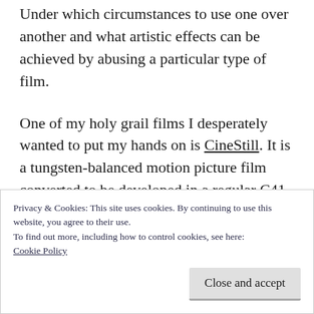Under which circumstances to use one over another and what artistic effects can be achieved by abusing a particular type of film.
One of my holy grail films I desperately wanted to put my hands on is CineStill. It is a tungsten-balanced motion picture film converted to be developed in a regular C41 process and thus more accessible for still photographers. In theory, this film can provide that cinematic look in terms of color, tonality, grain as it is, in
Privacy & Cookies: This site uses cookies. By continuing to use this website, you agree to their use.
To find out more, including how to control cookies, see here:
Cookie Policy
Close and accept